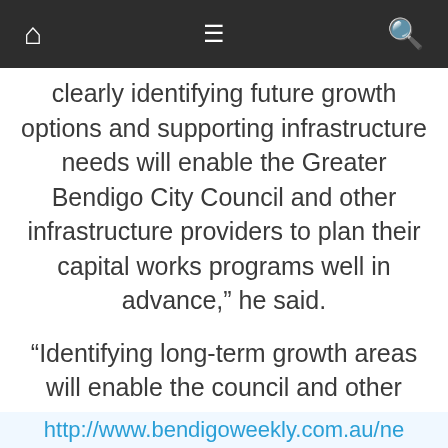Navigation bar with home, menu, and search icons
clearly identifying future growth options and supporting infrastructure needs will enable the Greater Bendigo City Council and other infrastructure providers to plan their capital works programs well in advance,” he said.
“Identifying long-term growth areas will enable the council and other service authorities to start planning for the delivery of services, thereby minimising the lag time between when residential development occurs and when the services need to be in place.”
http://www.bendigoweekly.com.au/ne